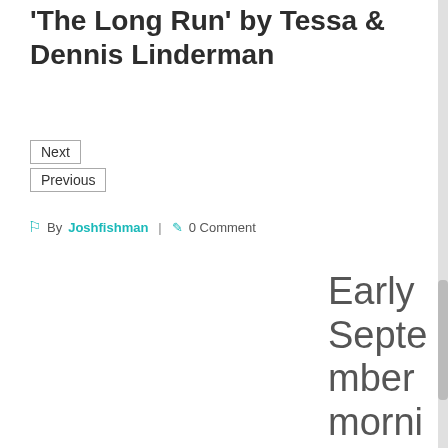'The Long Run' by Tessa & Dennis Linderman
Next
Previous
By Joshfishman | 0 Comment
Early September mornings found us runnin